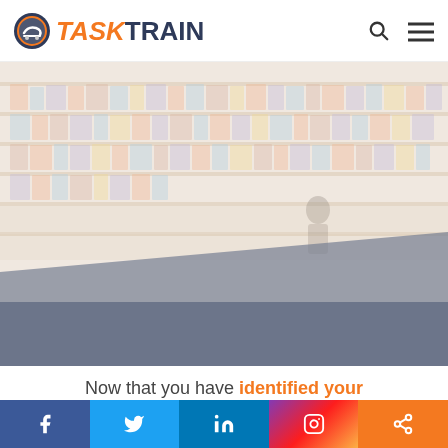[Figure (logo): TaskTrain logo with circular train icon and orange/dark blue text]
[Figure (photo): Faded library/bookshelf background image with a person browsing books, with a diagonal dark blue section at the bottom]
Now that you have identified your
This website uses cookies and third party
[Figure (infographic): Social media share bar with Facebook, Twitter, LinkedIn, Instagram, and share icons]